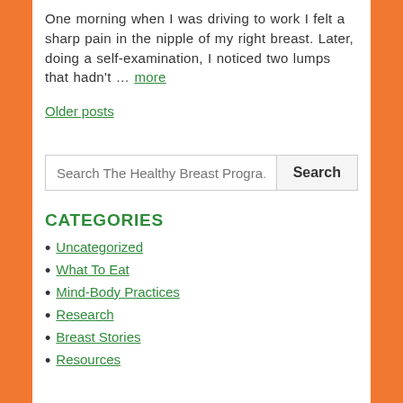One morning when I was driving to work I felt a sharp pain in the nipple of my right breast. Later, doing a self-examination, I noticed two lumps that hadn't … more
Older posts
Search The Healthy Breast Program
CATEGORIES
Uncategorized
What To Eat
Mind-Body Practices
Research
Breast Stories
Resources